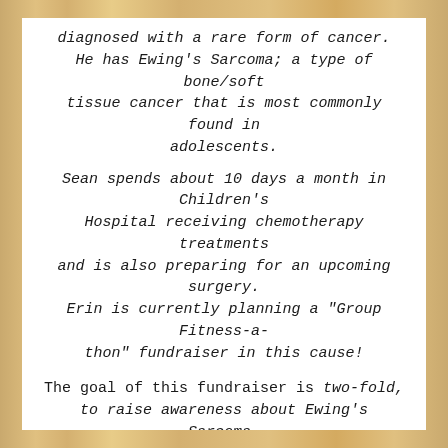diagnosed with a rare form of cancer. He has Ewing's Sarcoma; a type of bone/soft tissue cancer that is most commonly found in adolescents.
Sean spends about 10 days a month in Children's Hospital receiving chemotherapy treatments and is also preparing for an upcoming surgery. Erin is currently planning a "Group Fitness-a-thon" fundraiser in this cause!
The goal of this fundraiser is two-fold, to raise awareness about Ewing's Sarcoma, and to lessen the burden of medical expenses while Sean is in the hospital. Therefore, all of money that is made from Erin's fundraiser will go directly to medical payments and cancer